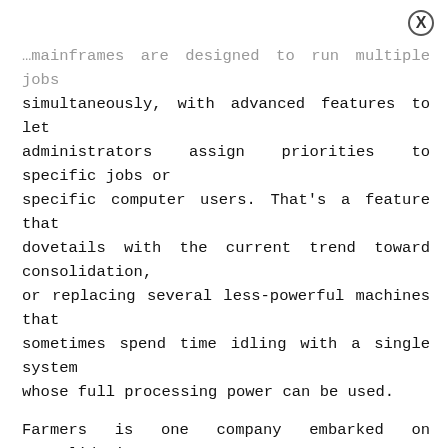mainframes are designed to run multiple jobs simultaneously, with advanced features to let administrators assign priorities to specific jobs or specific computer users. That's a feature that dovetails with the current trend toward consolidation, or replacing several less-powerful machines that sometimes spend time idling with a single system whose full processing power can be used.
Farmers is one company embarked on consolidation. The company is closing all but two data centers in a move that Berger said will save the company millions of dollars in expenses.
"It's the year of data center consolidation for us," Berger said, adding that the company already finished one project in which its Lotus Notes e-mail and calendar software was moved from Windows servers to mainframes from a successful big...